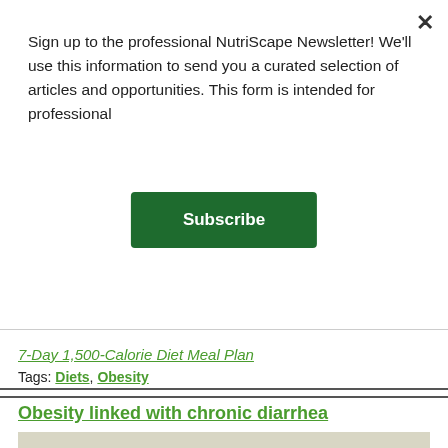Sign up to the professional NutriScape Newsletter! We'll use this information to send you a curated selection of articles and opportunities. This form is intended for professional
[Figure (other): Green Subscribe button]
7-Day 1,500-Calorie Diet Meal Plan
Tags: Diets, Obesity
Obesity linked with chronic diarrhea
[Figure (photo): Photo showing bowls of food on a white surface with a large green circle overlay containing cursive text 'Write About']